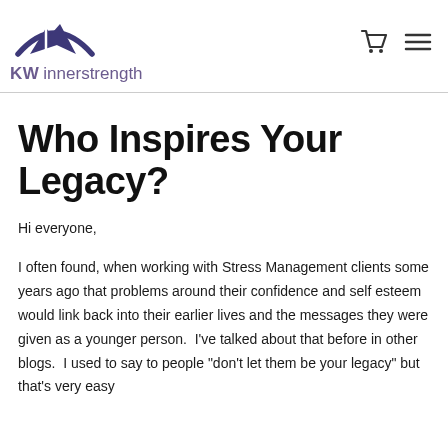KW innerstrength
Who Inspires Your Legacy?
Hi everyone,
I often found, when working with Stress Management clients some years ago that problems around their confidence and self esteem would link back into their earlier lives and the messages they were given as a younger person.  I've talked about that before in other blogs.  I used to say to people "don't let them be your legacy" but that's very easy